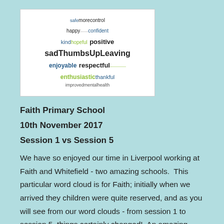[Figure (infographic): Word cloud with words: safeMorecontrol, happy, confident, kind, hopeful, positive, sadThumbsUpLeaving, enjoyable, respectful, enthusiastic, thankful, improvedmentalhealth]
Faith Primary School
10th November 2017
Session 1 vs Session 5
We have so enjoyed our time in Liverpool working at Faith and Whitefield - two amazing schools.  This particular word cloud is for Faith; initially when we arrived they children were quite reserved, and as you will see from our word clouds - from session 1 to session 5, things certainly changed!  An amazing class of year 6 children, full of confidence and excitement towards their